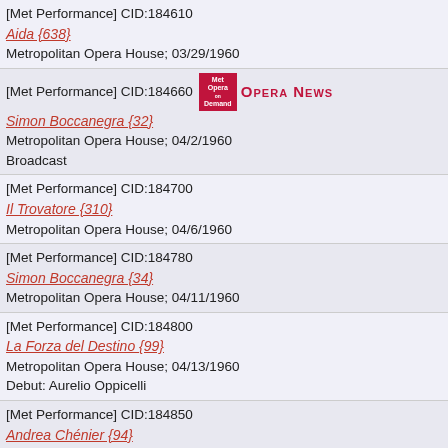[Met Performance] CID:184610
Aida {638}
Metropolitan Opera House; 03/29/1960
[Met Performance] CID:184660
Simon Boccanegra {32}
Metropolitan Opera House; 04/2/1960
Broadcast
[Met Performance] CID:184700
Il Trovatore {310}
Metropolitan Opera House; 04/6/1960
[Met Performance] CID:184780
Simon Boccanegra {34}
Metropolitan Opera House; 04/11/1960
[Met Performance] CID:184800
La Forza del Destino {99}
Metropolitan Opera House; 04/13/1960
Debut: Aurelio Oppicelli
[Met Performance] CID:184850
Andrea Chénier {94}
Metropolitan Theatre. Boston, Massachusetts; 04/18/1960
[Met Performance] CID:184950
Il Trovatore {312}
Public Auditorium, Cleveland, Ohio; 04/27/1960
[Met Performance] CID:185010
Andrea Chénier {96}
Fox Theatre, Atlanta, Georgia; 05/2/1960
[Met Performance] CID:185050